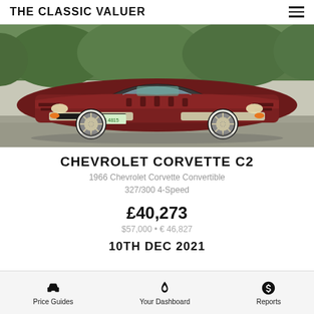THE CLASSIC VALUER
[Figure (photo): A dark red/maroon 1966 Chevrolet Corvette C2 convertible parked in a lot with green hedges in the background. License plate reads 484 4815.]
CHEVROLET CORVETTE C2
1966 Chevrolet Corvette Convertible
327/300 4-Speed
£40,273
$57,000 • € 46,827
10TH DEC 2021
Price Guides | Your Dashboard | Reports